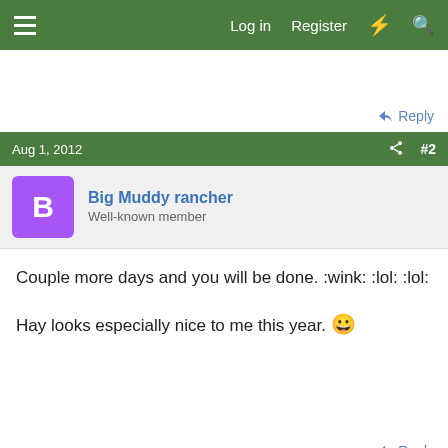≡  Log in  Register  ⚡  🔍
Reply
Aug 1, 2012  #2
Big Muddy rancher
Well-known member
Couple more days and you will be done. :wink: :lol: :lol:

Hay looks especially nice to me this year. 😀
Reply
Aug 1, 2012  #3
[Figure (screenshot): BitLife advertisement banner: FAIL text on left with cartoon character, BitLife logo in center with ?, X buttons, START A NEW LIFE tagline on black bar]